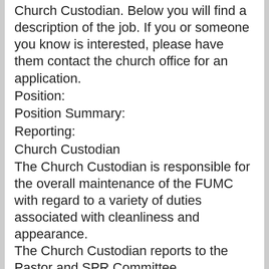Church Custodian. Below you will find a description of the job. If you or someone you know is interested, please have them contact the church office for an application.
Position:
Position Summary:
Reporting:
Church Custodian
The Church Custodian is responsible for the overall maintenance of the FUMC with regard to a variety of duties associated with cleanliness and appearance.
The Church Custodian reports to the Pastor and SPR Committee.
Duties/Responsibilities: